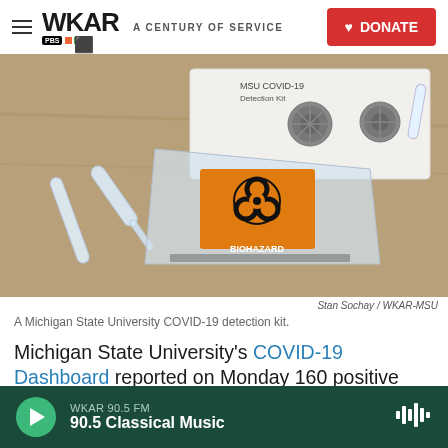WKAR A CENTURY OF SERVICE | DONATE
[Figure (photo): A Michigan State University COVID-19 detection kit showing plastic tubes, a biohazard bag, and a testing kit box on a wooden surface.]
Stan Sochay / WKAR-MSU
A Michigan State University COVID-19 detection kit.
Michigan State University's COVID-19 Dashboard reported on Monday 160 positive COVID-19 infections since the start of August, reports fit
WKAR 90.5 FM  90.5 Classical Music